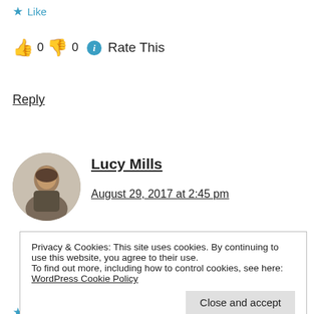★ Like
👍 0 👎 0 ℹ Rate This
Reply
Lucy Mills
August 29, 2017 at 2:45 pm
Privacy & Cookies: This site uses cookies. By continuing to use this website, you agree to their use.
To find out more, including how to control cookies, see here: WordPress Cookie Policy
Close and accept
★ Liked by 1 person